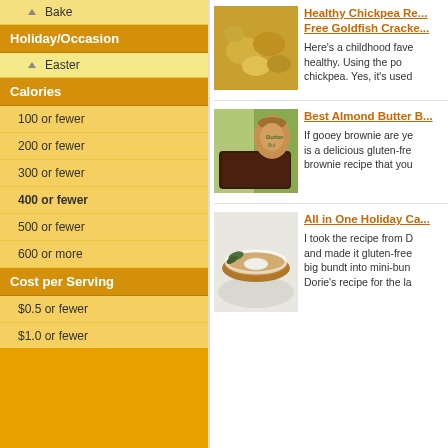Bake
Holiday/Occasion
Easter
Calories
100 or fewer
200 or fewer
300 or fewer
400 or fewer
500 or fewer
600 or more
Cost per Serving
$0.5 or fewer
$1.0 or fewer
$1.5 or fewer
$2.0 or fewer
$2.5 or fewer
$3.0 or fewer
$3.0 or more
[Figure (photo): Goldfish-shaped crackers, golden/yellow colored]
Healthy Chickpea Re... Free Goldfish Cracke...
Here's a childhood fave healthy. Using the po chickpea. Yes, it's used
[Figure (photo): Chocolate brownies with almond butter jar in background]
Best Almond Butter B...
If gooey brownie are ye is a delicious gluten-fre brownie recipe that you
[Figure (photo): Bundt cake dusted with powdered sugar on a plate]
All in One Holiday Ca...
I took the recipe from D and made it gluten-free big bundt into mini-bun Dorie's recipe for the la